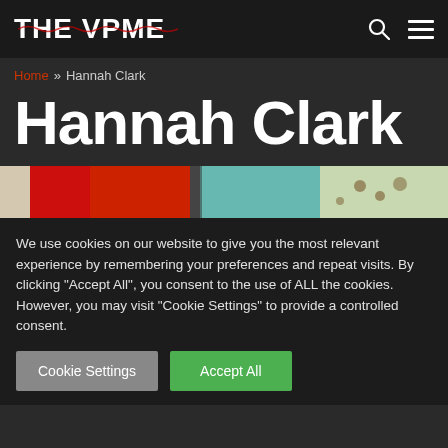THE VPME
Home » Hannah Clark
Hannah Clark
[Figure (photo): Partial view of colorful patterned fabrics including red, teal/turquoise floral, and light patterned material]
We use cookies on our website to give you the most relevant experience by remembering your preferences and repeat visits. By clicking "Accept All", you consent to the use of ALL the cookies. However, you may visit "Cookie Settings" to provide a controlled consent.
Cookie Settings | Accept All